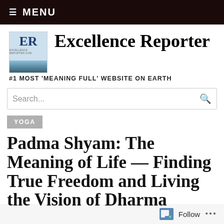≡ MENU
Excellence Reporter
#1 MOST 'MEANING FULL' WEBSITE ON EARTH
Search...
YOGA
Padma Shyam: The Meaning of Life — Finding True Freedom and Living the Vision of Dharma
Follow ...